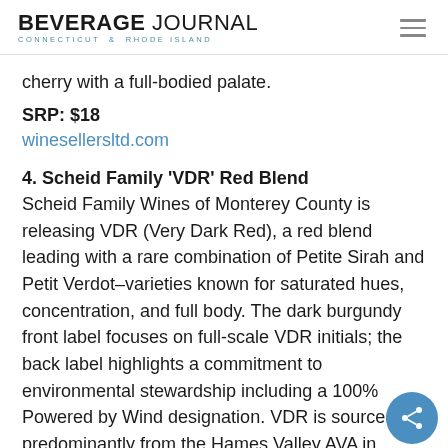BEVERAGE JOURNAL CONNECTICUT & RHODE ISLAND
cherry with a full-bodied palate.
SRP: $18
winesellersltd.com
4. Scheid Family 'VDR' Red Blend Scheid Family Wines of Monterey County is releasing VDR (Very Dark Red), a red blend leading with a rare combination of Petite Sirah and Petit Verdot–varieties known for saturated hues, concentration, and full body. The dark burgundy front label focuses on full-scale VDR initials; the back label highlights a commitment to environmental stewardship including a 100% Powered by Wind designation. VDR is sourced predominantly from the Hames Valley AVA in southernmost Monterey.